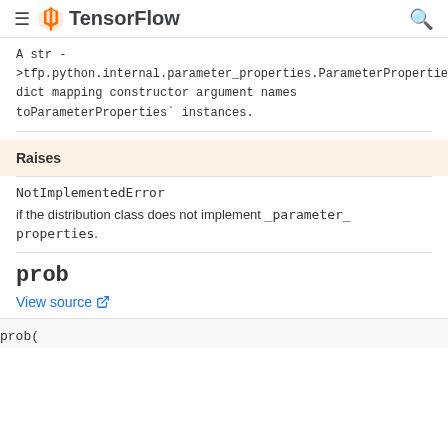TensorFlow
A str ->tfp.python.internal.parameter_properties.ParameterProperties dict mapping constructor argument names toParameterProperties` instances.
Raises
NotImplementedError
if the distribution class does not implement _parameter_properties.
prob
View source
prob(